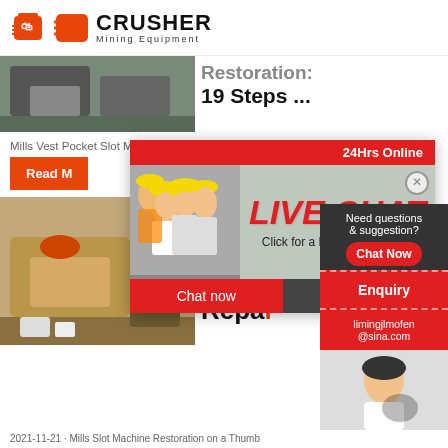CRUSHER Mining Equipment
[Figure (photo): Mining crusher equipment machinery photo at top]
Restoration: 19 Steps ...
Mills Vest Pocket Slot Machine Restoration: While cleaning
[Figure (photo): Live Chat popup overlay with workers in hard hats and customer service representative, buttons: Chat now / Chat later]
Read M
[Figure (photo): Mining equipment / excavator machinery photo]
Mills S Machi Escal Repai
[Figure (infographic): Sidebar: 24Hrs Online banner, Need questions & suggestion? Chat Now, Enquiry, limingjlmofen@sina.com]
2021-11-21 · Mills Slot Machine Restoration on a Thumb